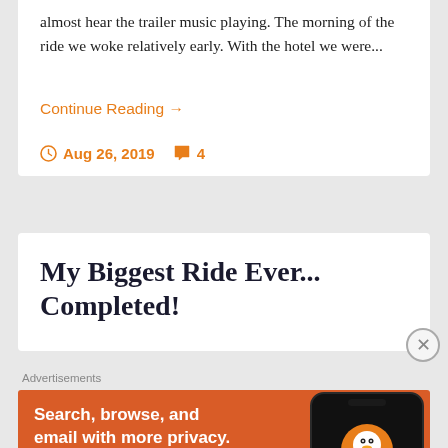almost hear the trailer music playing. The morning of the ride we woke relatively early. With the hotel we were...
Continue Reading →
Aug 26, 2019  4
My Biggest Ride Ever... Completed!
[Figure (screenshot): DuckDuckGo advertisement banner with orange background. Text: 'Search, browse, and email with more privacy. All in One Free App'. Shows a smartphone with DuckDuckGo logo.]